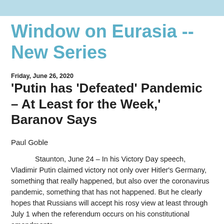Window on Eurasia -- New Series
Friday, June 26, 2020
'Putin has 'Defeated' Pandemic – At Least for the Week,' Baranov Says
Paul Goble
Staunton, June 24 – In his Victory Day speech, Vladimir Putin claimed victory not only over Hitler's Germany, something that really happened, but also over the coronavirus pandemic, something that has not happened. But he clearly hopes that Russians will accept his rosy view at least through July 1 when the referendum occurs on his constitutional amendments.